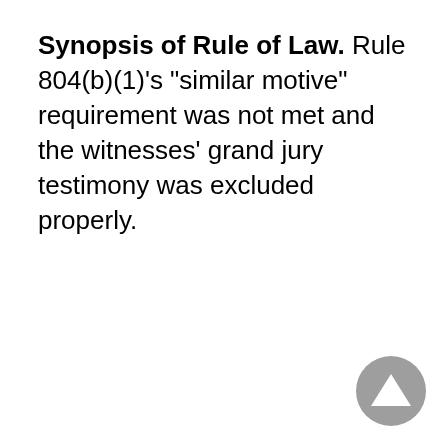Synopsis of Rule of Law. Rule 804(b)(1)'s "similar motive" requirement was not met and the witnesses' grand jury testimony was excluded properly.
[Figure (other): A circular grey navigation button with an upward-pointing triangle/arrow icon in the bottom-right corner of the page.]